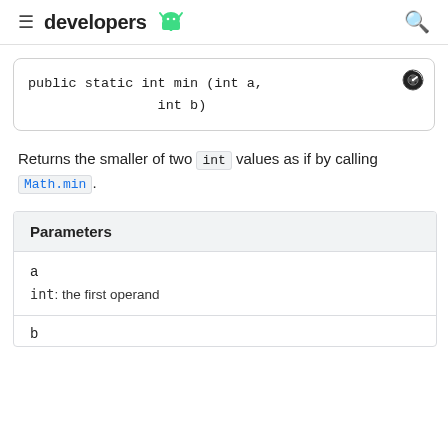developers
Returns the smaller of two int values as if by calling Math.min.
| Parameters |
| --- |
| a |
| int: the first operand |
| b |